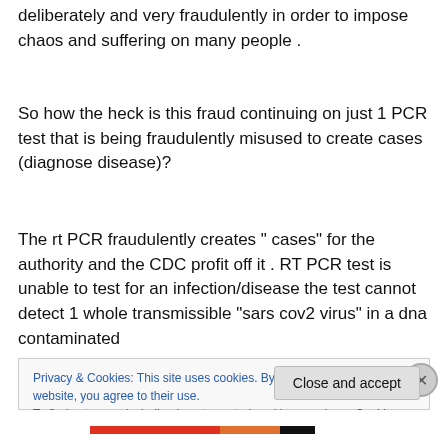deliberately and very fraudulently in order to impose chaos and suffering on many people .
So how the heck is this fraud continuing on just 1 PCR test that is being fraudulently misused to create cases (diagnose disease)?
The rt PCR fraudulently creates " cases" for the authority and the CDC profit off it . RT PCR test is unable to test for an infection/disease the test cannot detect 1 whole transmissible “sars cov2 virus” in a dna contaminated
Privacy & Cookies: This site uses cookies. By continuing to use this website, you agree to their use.
To find out more, including how to control cookies, see here: Cookie Policy